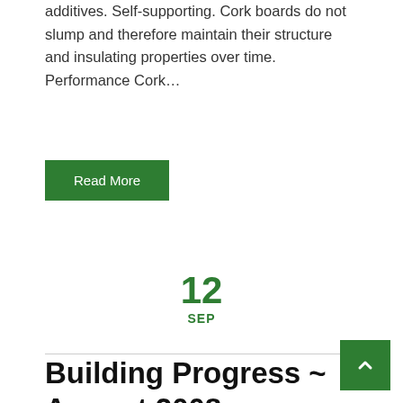additives. Self-supporting. Cork boards do not slump and therefore maintain their structure and insulating properties over time. Performance Cork…
Read More
12
SEP
Building Progress ~ August 2008
MBCadm1n-000   0 Comments